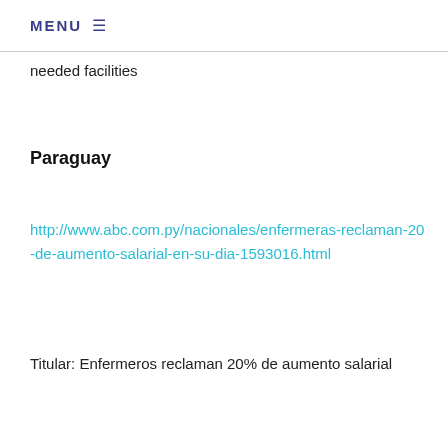MENU ☰
needed facilities
Paraguay
http://www.abc.com.py/nacionales/enfermeras-reclaman-20-de-aumento-salarial-en-su-dia-1593016.html
Titular: Enfermeros reclaman 20% de aumento salarial